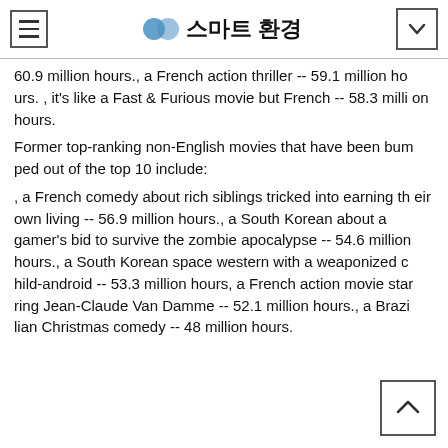스마트 환경
60.9 million hours., a French action thriller -- 59.1 million hours. , it's like a Fast & Furious movie but French -- 58.3 million hours.
Former top-ranking non-English movies that have been bumped out of the top 10 include:
, a French comedy about rich siblings tricked into earning their own living -- 56.9 million hours., a South Korean about a gamer's bid to survive the zombie apocalypse -- 54.6 million hours., a South Korean space western with a weaponized child-android -- 53.3 million hours, a French action movie starring Jean-Claude Van Damme -- 52.1 million hours., a Brazilian Christmas comedy -- 48 million hours.